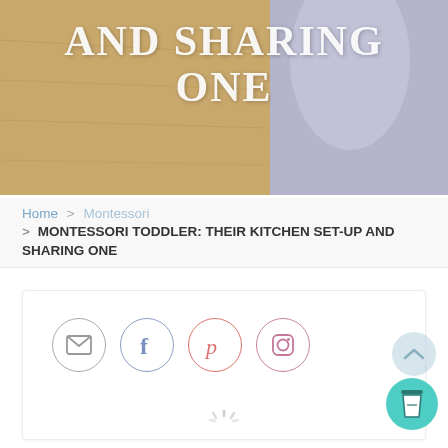[Figure (photo): Hero banner image with wooden surface on the left side and a blurred light purple/blue background on the right. Text 'AND SHARING ONE' overlaid in large white serif font.]
AND SHARING ONE
Home > Montessori
> MONTESSORI TODDLER: THEIR KITCHEN SET-UP AND SHARING ONE
[Figure (infographic): Row of four social media icon circles: email (envelope), Facebook (f), Pinterest (p), Instagram (camera). Below is a loading spinner.]